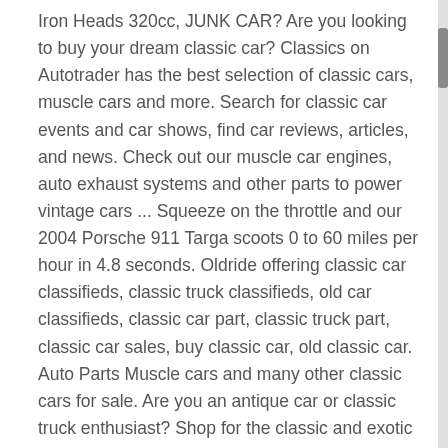Iron Heads 320cc, JUNK CAR? Are you looking to buy your dream classic car? Classics on Autotrader has the best selection of classic cars, muscle cars and more. Search for classic car events and car shows, find car reviews, articles, and news. Check out our muscle car engines, auto exhaust systems and other parts to power vintage cars ... Squeeze on the throttle and our 2004 Porsche 911 Targa scoots 0 to 60 miles per hour in 4.8 seconds. Oldride offering classic car classifieds, classic truck classifieds, old car classifieds, classic car part, classic truck part, classic car sales, buy classic car, old classic car. Auto Parts Muscle cars and many other classic cars for sale. Are you an antique car or classic truck enthusiast? Shop for the classic and exotic cars you want, and buy the way you want to buy, at Classic Motor Cars. Whether you want to buy classic car and truck parts or sell them, you can't go wrong with the Pomona Swap Meet classified ads, where we bring the West Coast's largest auto swap meet to your fingertips. Buy – Sell Classic Cars / Parts & Accessories. Group is here to buy ,